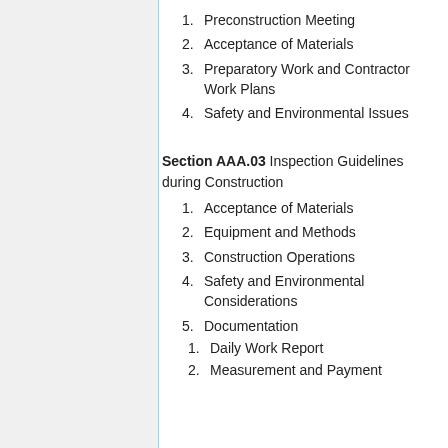1. Preconstruction Meeting
2. Acceptance of Materials
3. Preparatory Work and Contractor Work Plans
4. Safety and Environmental Issues
Section AAA.03 Inspection Guidelines during Construction
1. Acceptance of Materials
2. Equipment and Methods
3. Construction Operations
4. Safety and Environmental Considerations
5. Documentation
1. Daily Work Report
2. Measurement and Payment